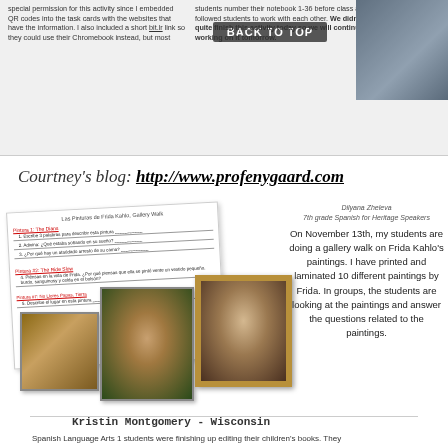special permission for this activity since I embedded QR codes into the task cards with the websites that have the information. I also included a short bit.lr link so they could use their Chromebook instead, but most
BACK TO TOP
students number their notebook 1-36 before class and followed students to work with each other. We didn't quite finish this activity today so we will continue working on it tomorrow.
[Figure (photo): Photo of students in classroom]
Courtney's blog: http://www.profenygaard.com
[Figure (photo): Gallery walk worksheet and Frida Kahlo paintings collage including a worksheet titled Las Pinturas de Frida Kahlo Gallery Walk, and images of Frida Kahlo paintings]
Dilyana Zheleva
7th grade Spanish for Heritage Speakers

On November 13th, my students are doing a gallery walk on Frida Kahlo's paintings. I have printed and laminated 10 different paintings by Frida. In groups, the students are looking at the paintings and answer the questions related to the paintings.
Kristin Montgomery - Wisconsin
Spanish Language Arts 1 students were finishing up editing their children's books. They